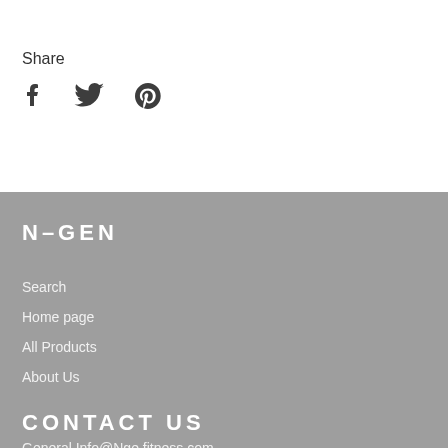Share
[Figure (illustration): Social sharing icons: Facebook, Twitter, Pinterest]
N–GEN
Search
Home page
All Products
About Us
CONTACT US
General.Info@Nge fitness.com